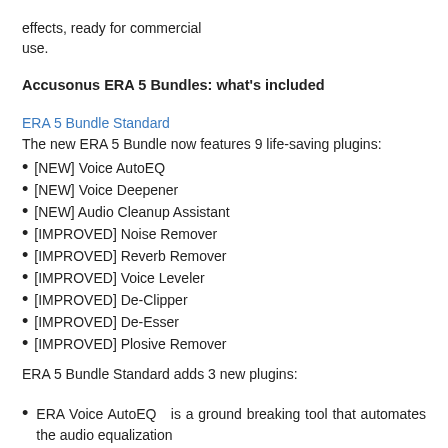effects, ready for commercial use.
Accusonus ERA 5 Bundles: what's included
ERA 5 Bundle Standard
The new ERA 5 Bundle now features 9 life-saving plugins:
[NEW] Voice AutoEQ
[NEW] Voice Deepener
[NEW] Audio Cleanup Assistant
[IMPROVED] Noise Remover
[IMPROVED] Reverb Remover
[IMPROVED] Voice Leveler
[IMPROVED] De-Clipper
[IMPROVED] De-Esser
[IMPROVED] Plosive Remover
ERA 5 Bundle Standard adds 3 new plugins:
ERA Voice AutoEQ  is a ground breaking tool that automates the audio equalization